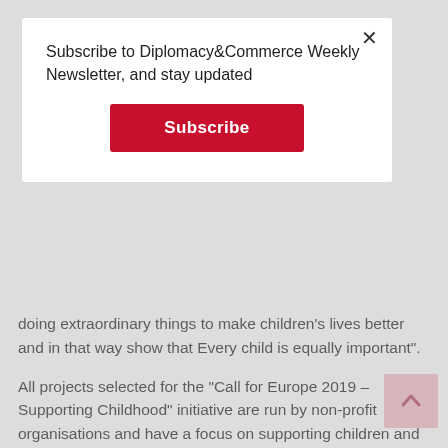doing extraordinary things to make children's lives better and in that way show that Every child is equally important”.
All projects selected for the “Call for Europe 2019 – Supporting Childhood” initiative are run by non-profit organisations and have a focus on supporting children and adolescents (0-18) in line with the priorities of each specific local community and with the aim of generating a positive social impact in the medium/long term.
UniCredit Bank will present all four organizations and their projects on its social networks with the aim of encouraging other socially responsible companies to provide support in creating better living conditions and a
[Figure (screenshot): Newsletter subscription modal overlay with 'Subscribe to Diplomacy&Commerce Weekly Newsletter, and stay updated' text and a red Subscribe button, with X close button]
[Figure (other): Pink scroll-to-top arrow button in bottom right corner]